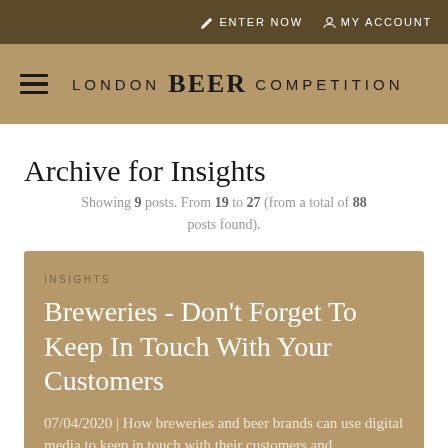ENTER NOW  MY ACCOUNT
[Figure (logo): London Beer Competition logo with hamburger menu icon. Text reads: LONDON BEER COMPETITION]
Archive for Insights
Showing 9 posts. From 19 to 27 (from a total of 88 posts found).
INSIGHTS
Breweries - Don't Forget To Keep In Touch With Your Customers
07/04/2020 | How breweries and beer brands can use digital media to keep in touch with their customers and...